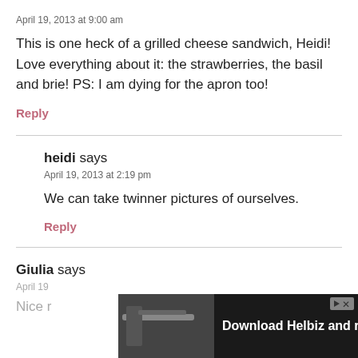April 19, 2013 at 9:00 am
This is one heck of a grilled cheese sandwich, Heidi! Love everything about it: the strawberries, the basil and brie! PS: I am dying for the apron too!
Reply
heidi says
April 19, 2013 at 2:19 pm
We can take twinner pictures of ourselves.
Reply
Giulia says
April 19
Nice r
[Figure (screenshot): Advertisement banner for 'Download Helbiz and ride' showing a bicycle handlebar image with skip/close controls]